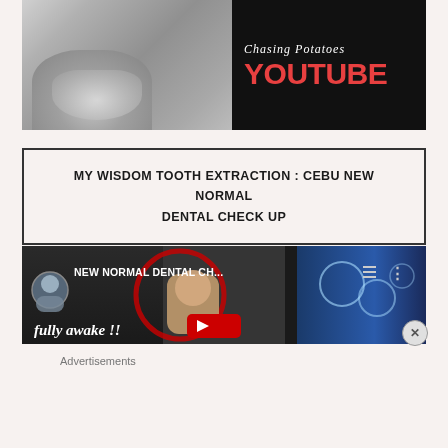[Figure (screenshot): YouTube channel banner for 'Chasing Potatoes' with a black and white cat photo on left and dark background with red YOUTUBE text on right]
MY WISDOM TOOTH EXTRACTION : CEBU NEW NORMAL DENTAL CHECK UP
[Figure (screenshot): YouTube video thumbnail showing 'NEW NORMAL DENTAL CH...' with avatar, person's face, and text 'fully awake!!' with red play button]
Advertisements